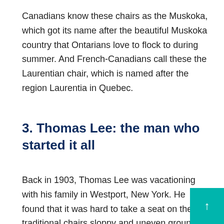Canadians know these chairs as the Muskoka, which got its name after the beautiful Muskoka country that Ontarians love to flock to during summer. And French-Canadians call these the Laurentian chair, which is named after the region Laurentia in Quebec.
3. Thomas Lee: the man who started it all
Back in 1903, Thomas Lee was vacationing with his family in Westport, New York. He found that it was hard to take a seat on the traditional chairs sloppy and uneven ground. The chairs kep